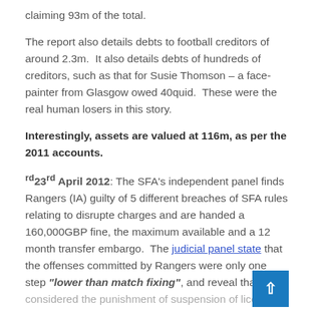claiming 93m of the total.
The report also details debts to football creditors of around 2.3m. It also details debts of hundreds of creditors, such as that for Susie Thomson – a face-painter from Glasgow owed 40quid. These were the real human losers in this story.
Interestingly, assets are valued at 116m, as per the 2011 accounts.
23rd April 2012: The SFA's independent panel finds Rangers (IA) guilty of 5 different breaches of SFA rules relating to disrupte charges and are handed a 160,000GBP fine, the maximum available and a 12 month transfer embargo. The judicial panel state that the offenses committed by Rangers were only one step "lower than match fixing", and reveal that they considered the punishment of suspension of lice